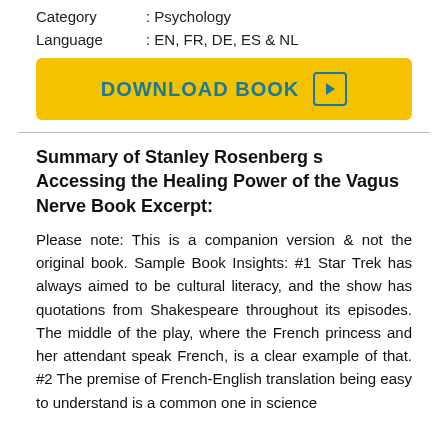| Category | : Psychology |
| Language | : EN, FR, DE, ES & NL |
[Figure (other): Yellow download button with text 'DOWNLOAD BOOK' and a play icon on the right]
Summary of Stanley Rosenberg s Accessing the Healing Power of the Vagus Nerve Book Excerpt:
Please note: This is a companion version & not the original book. Sample Book Insights: #1 Star Trek has always aimed to be cultural literacy, and the show has quotations from Shakespeare throughout its episodes. The middle of the play, where the French princess and her attendant speak French, is a clear example of that. #2 The premise of French-English translation being easy to understand is a common one in science